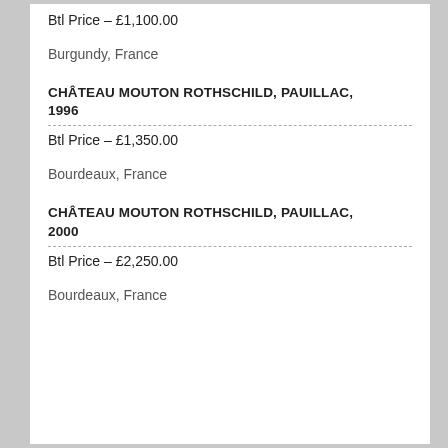Btl Price – £1,100.00
Burgundy, France
CHÂTEAU MOUTON ROTHSCHILD, PAUILLAC, 1996
Btl Price – £1,350.00
Bourdeaux, France
CHÂTEAU MOUTON ROTHSCHILD, PAUILLAC, 2000
Btl Price – £2,250.00
Bourdeaux, France